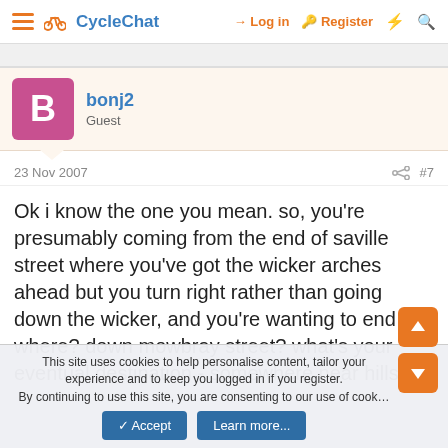CycleChat | Log in | Register
bonj2
Guest
23 Nov 2007
#7
Ok i know the one you mean. so, you're presumably coming from the end of saville street where you've got the wicker arches ahead but you turn right rather than going down the wicker, and you're wanting to end up where? down mowbray street? what's your eventual destination - somewhere near hillsborough?
This site uses cookies to help personalise content, tailor your experience and to keep you logged in if you register.
By continuing to use this site, you are consenting to our use of cookies.
Accept | Learn more...